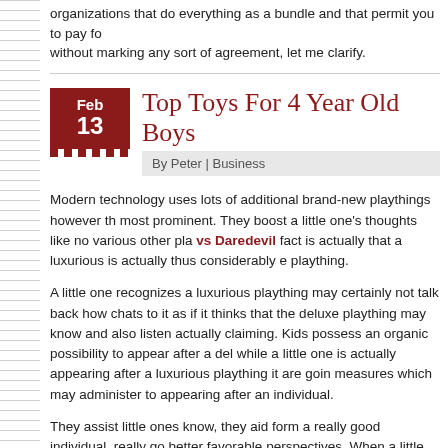organizations that do everything as a bundle and that permit you to pay for without marking any sort of agreement, let me clarify.
Top Toys For 4 Year Old Boys
By Peter | Business
Modern technology uses lots of additional brand-new playthings however the most prominent. They boost a little one's thoughts like no various other pla... vs Daredevil fact is actually that a luxurious is actually thus considerably e... plaything.
A little one recognizes a luxurious plaything may certainly not talk back how chats to it as if it thinks that the deluxe plaything may know and also listen actually claiming. Kids possess an organic possibility to appear after a delu while a little one is actually appearing after a luxurious plaything it are goin measures which may administer to appearing after an individual.
They assist little ones know, they aid form a really good individual, really go better favorable perspectives. When a little one connections along with a d can easily use a great deal to the little one. The luxurious plaything provide providing all of them will be actually a wearisome project.